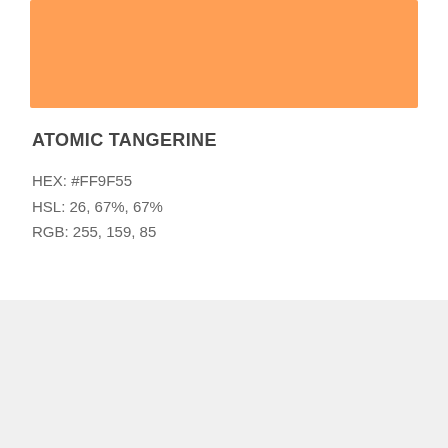[Figure (other): Atomic Tangerine color swatch, a solid rectangle filled with #FF9F55 orange color]
ATOMIC TANGERINE
HEX: #FF9F55
HSL: 26, 67%, 67%
RGB: 255, 159, 85
[Figure (other): Light gray background band at the bottom of the page]